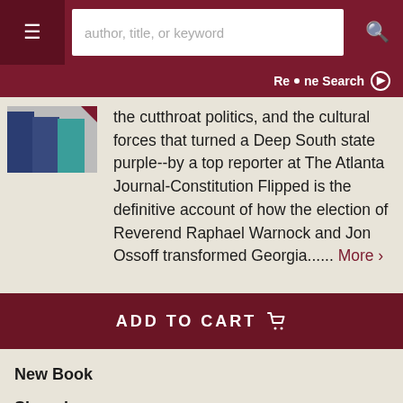author, title, or keyword
Refine Search
the cutthroat politics, and the cultural forces that turned a Deep South state purple--by a top reporter at The Atlanta Journal-Constitution Flipped is the definitive account of how the election of Reverend Raphael Warnock and Jon Ossoff transformed Georgia...... More >
ADD TO CART
New Book
Signed
Price: $29.00